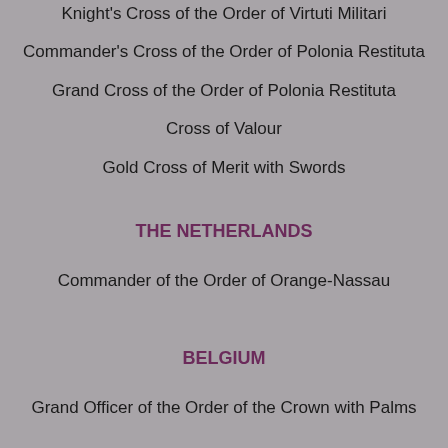Knight's Cross of the Order of Virtuti Militari
Commander's Cross of the Order of Polonia Restituta
Grand Cross of the Order of Polonia Restituta
Cross of Valour
Gold Cross of Merit with Swords
THE NETHERLANDS
Commander of the Order of Orange-Nassau
BELGIUM
Grand Officer of the Order of the Crown with Palms